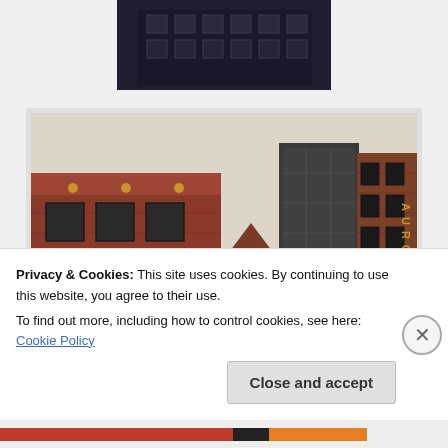[Figure (photo): Partial view of a dark building facade, top of page]
[Figure (photo): Amsterdam street with historic and modern building facades including brick buildings with ornate architecture and a sign reading AURORA]
[Figure (photo): Partial photo of Amsterdam canal buildings with bare trees, partially obscured by cookie banner]
Privacy & Cookies: This site uses cookies. By continuing to use this website, you agree to their use.
To find out more, including how to control cookies, see here: Cookie Policy
Close and accept